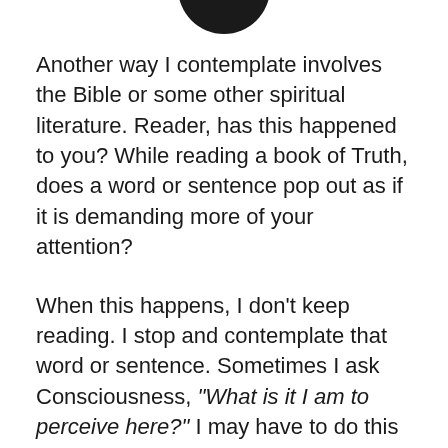[Figure (other): Partial dark circular shape at top center of page, cropped]
Another way I contemplate involves the Bible or some other spiritual literature. Reader, has this happened to you? While reading a book of Truth, does a word or sentence pop out as if it is demanding more of your attention?
When this happens, I don't keep reading. I stop and contemplate that word or sentence. Sometimes I ask Consciousness, “What is it I am to perceive here?” I may have to do this more than once, but when the answer is revealed, I feel like I’m going to explode with joy.
Reader, here is what I don’t do. I never contemplate with the idea that this contemplation is going to fix something. Furthermore, I realize that Truth is always true whether I